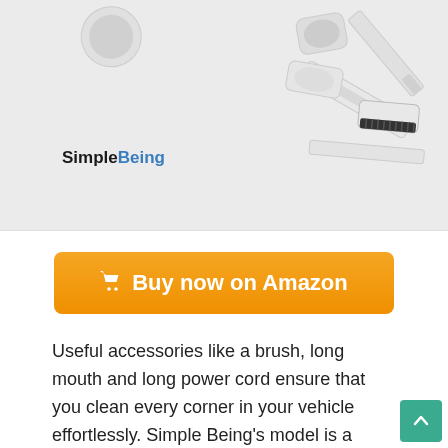[Figure (photo): Product photo of SimpleBeing vacuum cleaner accessories including brush, long mouth nozzle, and other attachments on white/grey background. SimpleBeing logo visible in blue and black text.]
[Figure (other): Orange 'Buy now on Amazon' button with shopping cart icon]
Useful accessories like a brush, long mouth and long power cord ensure that you clean every corner in your vehicle effortlessly. Simple Being's model is a portable handheld car vacuum cleaner that uses a revolutionized cyclone technology to effectively remove dust particles. You can settle with it if you are tired of replacing bags in a car vacuum. This handheld model uses